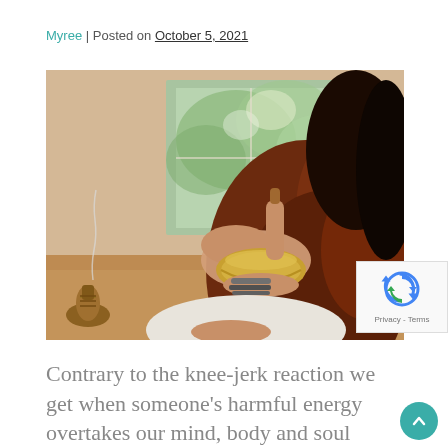Myree | Posted on October 5, 2021
[Figure (photo): Woman sitting cross-legged holding a Tibetan singing bowl in one hand and a mallet in the other, wearing a brown knit shawl and bracelets, with incense burning nearby and a window with greenery in the background.]
Contrary to the knee-jerk reaction we get when someone's harmful energy overtakes our mind, body and soul